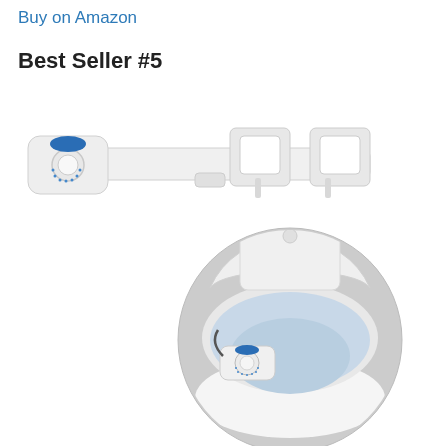Buy on Amazon
Best Seller #5
[Figure (photo): Product photo of a white bidet toilet seat attachment shown from two angles: a standalone view of the bidet unit with a blue-labeled control knob on the left, and a circular inset photo showing the bidet installed on a white toilet with the seat up.]